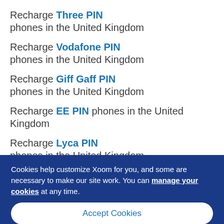Recharge Three PIN phones in the United Kingdom
Recharge Vodafone PIN phones in the United Kingdom
Recharge Giff Gaff PIN phones in the United Kingdom
Recharge EE PIN phones in the United Kingdom
Recharge Lyca PIN phones in the United Kingdom
Cookies help customize Xoom for you, and some are necessary to make our site work. You can manage your cookies at any time.
Accept Cookies